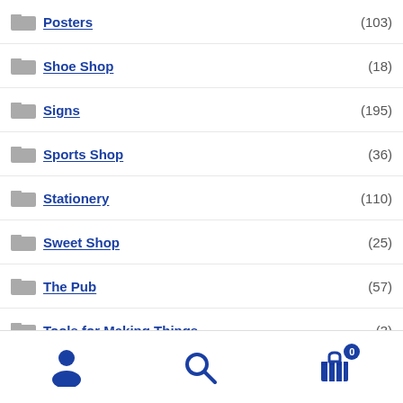Posters (103)
Shoe Shop (18)
Signs (195)
Sports Shop (36)
Stationery (110)
Sweet Shop (25)
The Pub (57)
Tools for Making Things (3)
Toy Shop (72)
Trophy Shop (12)
Uncategorised (3)
Wartime Medals & Guns (29)
User | Search | Cart (0)